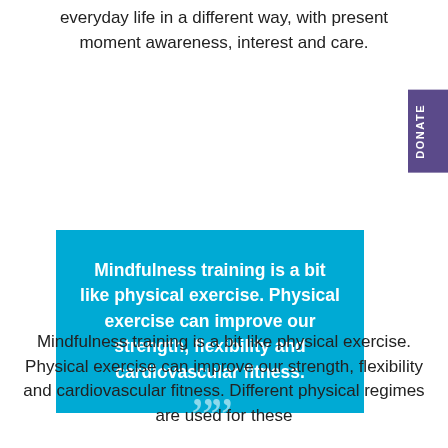everyday life in a different way, with present moment awareness, interest and care.
[Figure (infographic): Blue quote box with white bold text reading: Mindfulness training is a bit like physical exercise. Physical exercise can improve our strength, flexibility and cardiovascular fitness. Large decorative quotation marks above and below the box.]
Mindfulness training is a bit like physical exercise. Physical exercise can improve our strength, flexibility and cardiovascular fitness. Different physical regimes are used for these